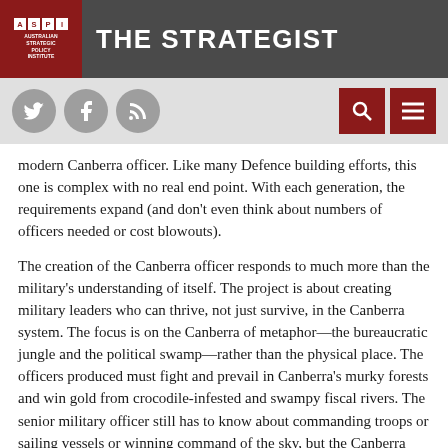THE STRATEGIST — Australian Strategic Policy Institute
modern Canberra officer. Like many Defence building efforts, this one is complex with no real end point. With each generation, the requirements expand (and don't even think about numbers of officers needed or cost blowouts).
The creation of the Canberra officer responds to much more than the military's understanding of itself. The project is about creating military leaders who can thrive, not just survive, in the Canberra system. The focus is on the Canberra of metaphor—the bureaucratic jungle and the political swamp—rather than the physical place. The officers produced must fight and prevail in Canberra's murky forests and win gold from crocodile-infested and swampy fiscal rivers. The senior military officer still has to know about commanding troops or sailing vessels or winning command of the sky, but the Canberra skills being